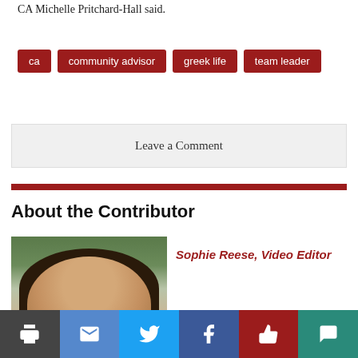CA Michelle Pritchard-Hall said.
ca
community advisor
greek life
team leader
Leave a Comment
About the Contributor
[Figure (photo): Headshot photo of Sophie Reese, a young woman with long dark hair, smiling, with plants and a brick building in the background.]
Sophie Reese, Video Editor
Print | Email | Twitter | Facebook | Like | Comment